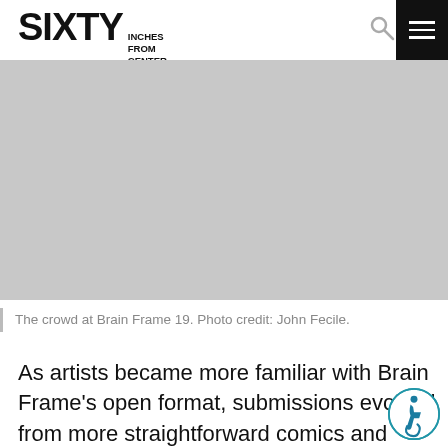SIXTY INCHES FROM CENTER
[Figure (photo): Gray placeholder area representing the crowd photo at Brain Frame 19]
The crowd at Brain Frame 19. Photo credit: John Fecile.
As artists became more familiar with Brain Frame’s open format, submissions evolved from more straightforward comics and existing pieces to multi-disciplinary works created specifically for the show. Some became a